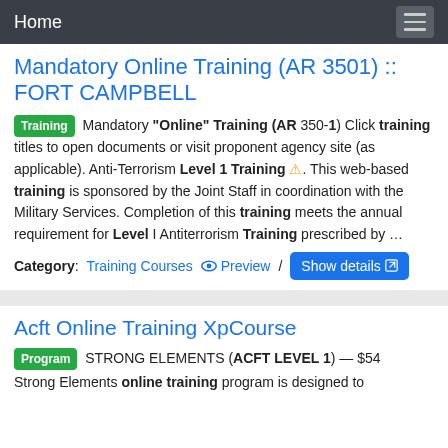Home
Mandatory Online Training (AR 3501) :: FORT CAMPBELL
Training Mandatory "Online" Training (AR 350-1) Click training titles to open documents or visit proponent agency site (as applicable). Anti-Terrorism Level 1 Training ⚠. This web-based training is sponsored by the Joint Staff in coordination with the Military Services. Completion of this training meets the annual requirement for Level I Antiterrorism Training prescribed by …
Category: Training Courses   Preview /   Show details
Acft Online Training XpCourse
Program STRONG ELEMENTS (ACFT LEVEL 1) — $54 Strong Elements online training program is designed to